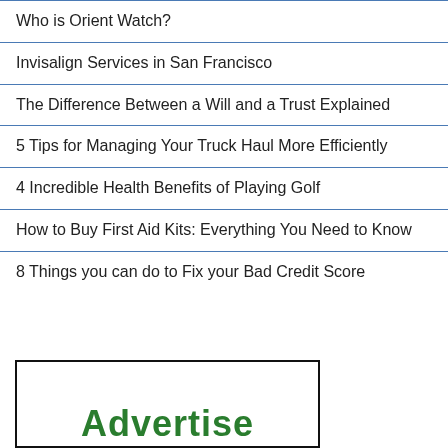Who is Orient Watch?
Invisalign Services in San Francisco
The Difference Between a Will and a Trust Explained
5 Tips for Managing Your Truck Haul More Efficiently
4 Incredible Health Benefits of Playing Golf
How to Buy First Aid Kits: Everything You Need to Know
8 Things you can do to Fix your Bad Credit Score
[Figure (other): Advertisement box with green bold text reading 'Advertise' partially visible at bottom]